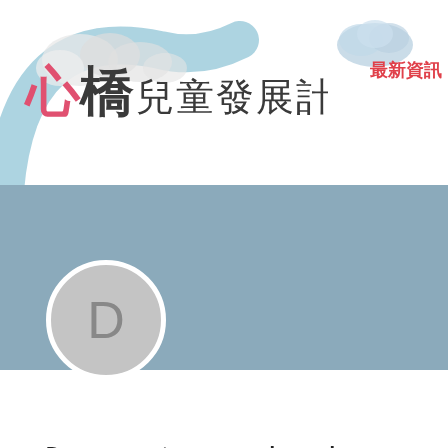[Figure (screenshot): Website header with logo '心橋兒童發展計劃', decorative arch illustration with clouds, and navigation links in red Chinese characters '最新資訊' and '專業']
[Figure (illustration): Steely blue banner strip spanning full width below header, with grey circular avatar overlapping, showing letter D]
Dreams punta cana casino poker
0 Followers • 0 Following
Profile   Events
Profile